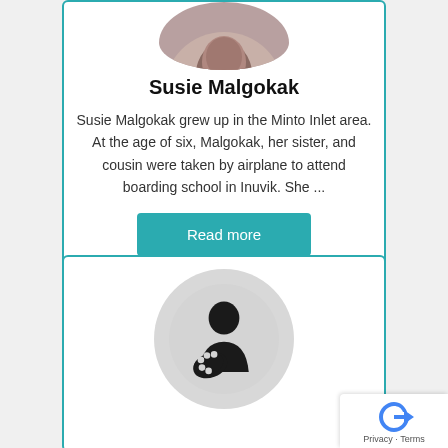[Figure (photo): Circular profile photo of Susie Malgokak, partially cropped at top]
Susie Malgokak
Susie Malgokak grew up in the Minto Inlet area. At the age of six, Malgokak, her sister, and cousin were taken by airplane to attend boarding school in Inuvik. She ...
[Figure (illustration): Circular placeholder avatar showing a generic artist silhouette holding a painter's palette, on a light grey background]
Privacy · Terms